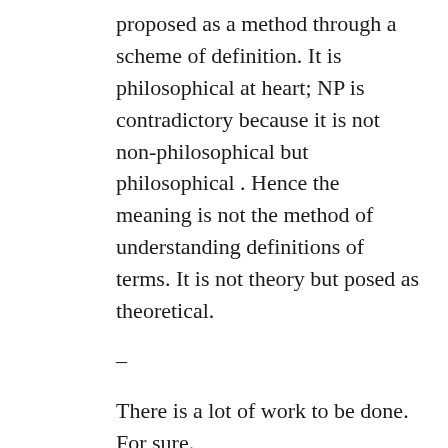proposed as a method through a scheme of definition. It is philosophical at heart; NP is contradictory because it is not non-philosophical but philosophical . Hence the meaning is not the method of understanding definitions of terms. It is not theory but posed as theoretical.
–
There is a lot of work to be done. For sure.
I do appreciate your interaction. It helps tremendously.
★ Like
Log in to Reply